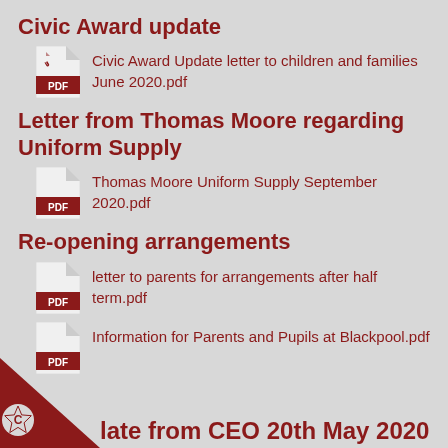Civic Award update
Civic Award Update letter to children and families June 2020.pdf
Letter from Thomas Moore regarding Uniform Supply
Thomas Moore Uniform Supply September 2020.pdf
Re-opening arrangements
letter to parents for arrangements after half term.pdf
Information for Parents and Pupils at Blackpool.pdf
late from CEO 20th May 2020